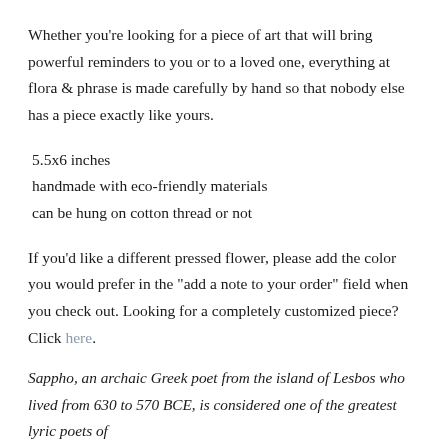Whether you're looking for a piece of art that will bring powerful reminders to you or to a loved one, everything at flora & phrase is made carefully by hand so that nobody else has a piece exactly like yours.
5.5x6 inches
handmade with eco-friendly materials
can be hung on cotton thread or not
If you'd like a different pressed flower, please add the color you would prefer in the "add a note to your order" field when you check out. Looking for a completely customized piece? Click here.
Sappho, an archaic Greek poet from the island of Lesbos who lived from 630 to 570 BCE, is considered one of the greatest lyric poets of